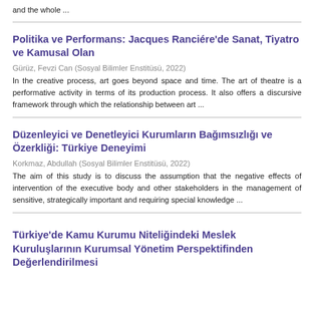and the whole ...
Politika ve Performans: Jacques Ranciére'de Sanat, Tiyatro ve Kamusal Olan
Gürüz, Fevzi Can (Sosyal Bilimler Enstitüsü, 2022)
In the creative process, art goes beyond space and time. The art of theatre is a performative activity in terms of its production process. It also offers a discursive framework through which the relationship between art ...
Düzenleyici ve Denetleyici Kurumların Bağımsızlığı ve Özerkliği: Türkiye Deneyimi
Korkmaz, Abdullah (Sosyal Bilimler Enstitüsü, 2022)
The aim of this study is to discuss the assumption that the negative effects of intervention of the executive body and other stakeholders in the management of sensitive, strategically important and requiring special knowledge ...
Türkiye'de Kamu Kurumu Niteliğindeki Meslek Kuruluşlarının Kurumsal Yönetim Perspektifinden Değerlendirilmesi